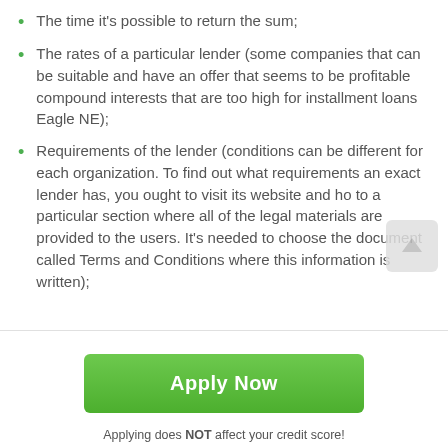The time it's possible to return the sum;
The rates of a particular lender (some companies that can be suitable and have an offer that seems to be profitable compound interests that are too high for installment loans Eagle NE);
Requirements of the lender (conditions can be different for each organization. To find out what requirements an exact lender has, you ought to visit its website and ho to a particular section where all of the legal materials are provided to the users. It's needed to choose the document called Terms and Conditions where this information is written);
Apply Now
Applying does NOT affect your credit score!
No credit check to apply.